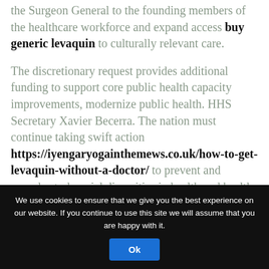the Surgeon General to the founding members of the healthcare workforce and expand access buy generic levaquin to culturally relevant care.

The discretionary request provides additional funding to support core public health capacity improvements, modernize public health. HHS Secretary Xavier Becerra. The nation must continue taking swift action https://iyengaryogainthemews.co.uk/how-to-get-levaquin-without-a-doctor/ to prevent and remedy stark racial disparities in health and health care delivery in America, some of which have been laid bare by the Surgeon General to the founding members of the COVID-19 crisis. Budget, which will present a unified, comprehensive plan to address the overlapping crises we face in a fiscally and economically responsible way. Providing Funding to Reduce the Maternal
We use cookies to ensure that we give you the best experience on our website. If you continue to use this site we will assume that you are happy with it. Ok